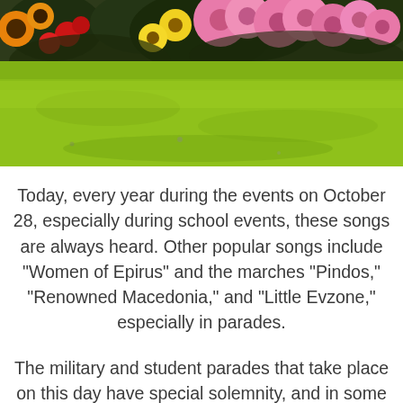[Figure (photo): Photo of colorful flowers (pink, red, orange, yellow gerberas and other blooms) arranged on green grass in a sunlit outdoor setting, likely a memorial or cemetery.]
Today, every year during the events on October 28, especially during school events, these songs are always heard. Other popular songs include “Women of Epirus” and the marches “Pindos,” “Renowned Macedonia,” and “Little Evzone,” especially in parades.
The military and student parades that take place on this day have special solemnity, and in some cases wounded war veterans participate as well. However